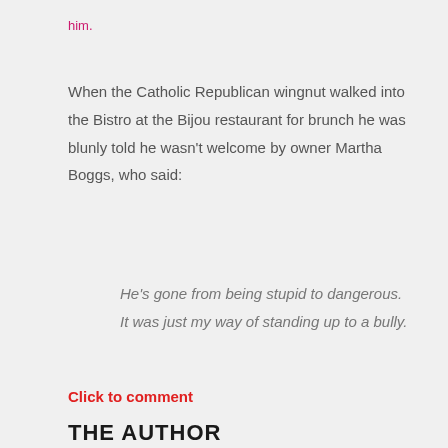him.
When the Catholic Republican wingnut walked into the Bistro at the Bijou restaurant for brunch he was blunly told he wasn't welcome by owner Martha Boggs, who said:
He's gone from being stupid to dangerous. It was just my way of standing up to a bully.
Click to comment
THE AUTHOR